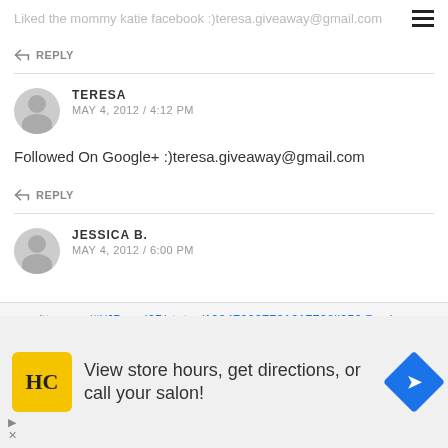Liked the mommy katie facebook :)teresa.giveaway@gmail.com
REPLY
TERESA
MAY 4, 2012 / 4:12 PM
Followed On Google+ :)teresa.giveaway@gmail.com
REPLY
JESSICA B.
MAY 4, 2012 / 6:00 PM
twitter.com/#!/JBeard25/status/198472027731017728jj250@aol.com
View store hours, get directions, or call your salon!